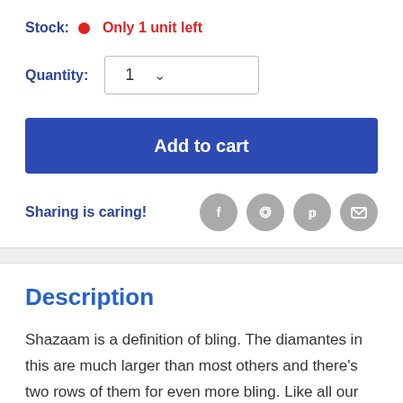Stock: • Only 1 unit left
Quantity: 1
Add to cart
Sharing is caring!
Description
Shazaam is a definition of bling. The diamantes in this are much larger than most others and there's two rows of them for even more bling. Like all our corsage bracelets, this